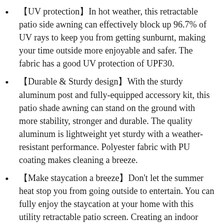【UV protection】In hot weather, this retractable patio side awning can effectively block up 96.7% of UV rays to keep you from getting sunburnt, making your time outside more enjoyable and safer. The fabric has a good UV protection of UPF30.
【Durable & Sturdy design】With the sturdy aluminum post and fully-equipped accessory kit, this patio shade awning can stand on the ground with more stability, stronger and durable. The quality aluminum is lightweight yet sturdy with a weather-resistant performance. Polyester fabric with PU coating makes cleaning a breeze.
【Make staycation a breeze】Don't let the summer heat stop you from going outside to entertain. You can fully enjoy the staycation at your home with this utility retractable patio screen. Creating an indoor beach only needs a small swimming